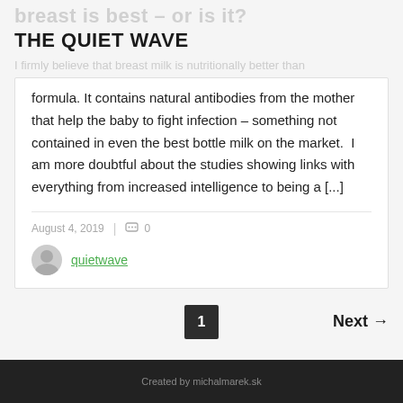breast is best – or is it?
THE QUIET WAVE
I firmly believe that breast milk is nutritionally better than
formula. It contains natural antibodies from the mother that help the baby to fight infection – something not contained in even the best bottle milk on the market.  I am more doubtful about the studies showing links with everything from increased intelligence to being a [...]
August 4, 2019  |  0
quietwave
1  Next →
Created by michalmarek.sk